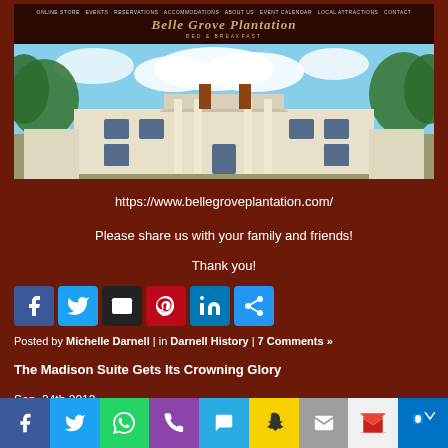[Figure (screenshot): Screenshot of Belle Grove Plantation Bed & Breakfast website showing navigation bar and exterior photo of the plantation house]
https://www.bellegroveplantation.com/
Please share us with your family and friends!
Thank you!
[Figure (other): Social share buttons: Facebook, Twitter, Email, Pinterest, LinkedIn, Share]
Posted by Michelle Darnell | in Darnell History | 7 Comments »
The Madison Suite Gets Its Crowning Glory
Sep. 24th 2013
[Figure (other): Bottom social sharing bar with icons: Facebook, Twitter, WhatsApp, Phone, SMS, Snapchat, Mail, Gmail, Outlook]